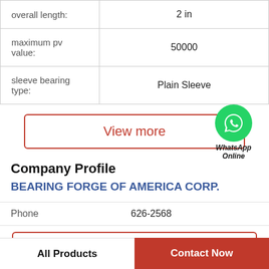| Attribute | Value |
| --- | --- |
| overall length: | 2 in |
| maximum pv value: | 50000 |
| sleeve bearing type: | Plain Sleeve |
View more
[Figure (logo): WhatsApp green circle logo with phone icon and 'WhatsApp Online' label]
Company Profile
BEARING FORGE OF AMERICA CORP.
Phone   626-2568
View more
All Products   Contact Now